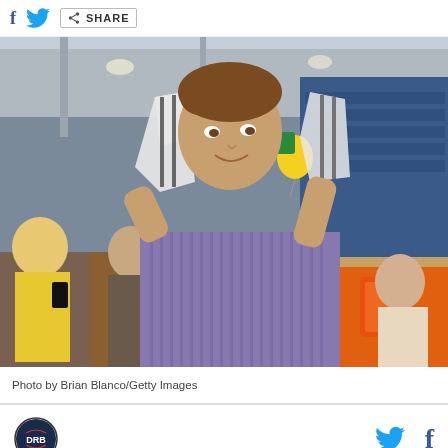f [twitter icon] [share icon] SHARE
[Figure (photo): Young man putting on a baseball jersey over a striped dress shirt indoors at what appears to be a sports stadium. People in background including one man in yellow shirt holding a phone. Gatorade coolers visible on right.]
Photo by Brian Blanco/Getty Images
[DRB logo] [twitter icon] [facebook icon]